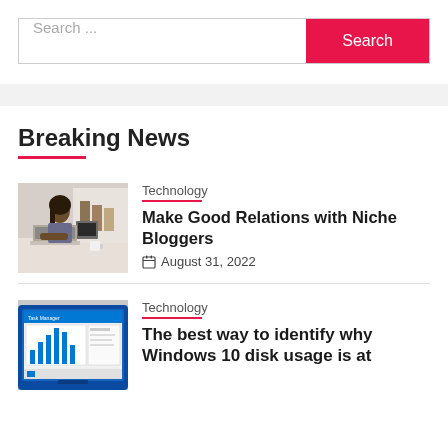[Figure (screenshot): Search bar with text input showing 'Search ...' placeholder and a red 'Search' button]
Breaking News
[Figure (photo): Woman working on a laptop at a desk with a coffee mug]
Technology
Make Good Relations with Niche Bloggers
August 31, 2022
[Figure (screenshot): Screenshot of Windows 10 disk usage screen on a tablet/laptop]
Technology
The best way to identify why Windows 10 disk usage is at